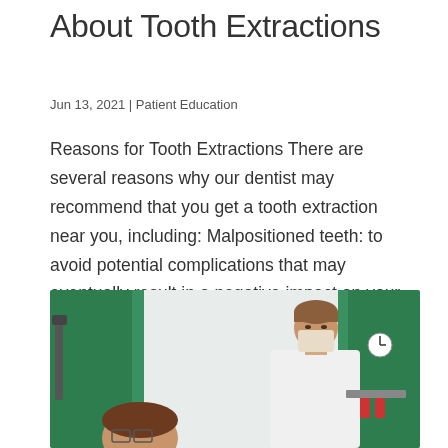About Tooth Extractions
Jun 13, 2021 | Patient Education
Reasons for Tooth Extractions There are several reasons why our dentist may recommend that you get a tooth extraction near you, including: Malpositioned teeth: to avoid potential complications that may eventually result in a negative impact on your oral health, our...
[Figure (photo): A dental professional wearing a white coat and protective face mask standing in a dental clinic with green walls, with another person partially visible in the foreground.]